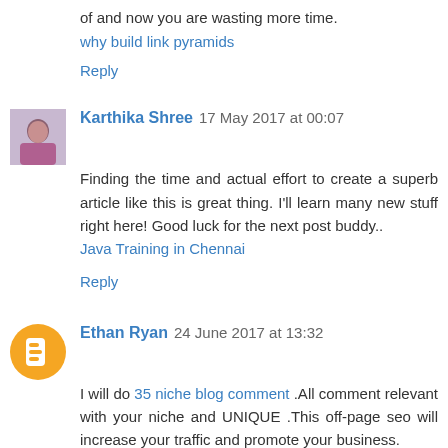of and now you are wasting more time.
why build link pyramids
Reply
Karthika Shree  17 May 2017 at 00:07
Finding the time and actual effort to create a superb article like this is great thing. I'll learn many new stuff right here! Good luck for the next post buddy..
Java Training in Chennai
Reply
Ethan Ryan  24 June 2017 at 13:32
I will do 35 niche blog comment .All comment relevant with your niche and UNIQUE .This off-page seo will increase your traffic and promote your business.
Reply
Jignlisha  3 November 2018 at 15:31